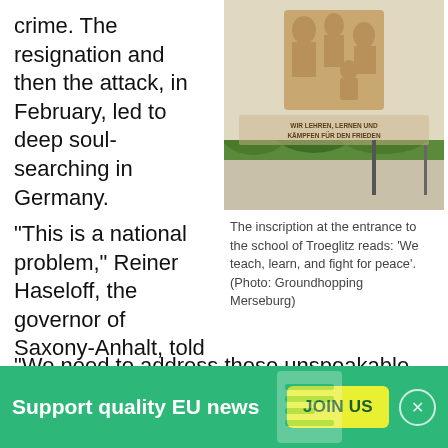crime. The resignation and then the attack, in February, led to deep soul-searching in Germany.
[Figure (photo): Photo of the exterior wall of the school of Troeglitz showing a mural with figures and an inscription reading 'WIR LEHREN, LERNEN UND KÄMPFEN FÜR DEN FRIEDEN']
The inscription at the entrance to the school of Troeglitz reads: 'We teach, learn, and fight for peace'. (Photo: Groundhopping Merseburg)
"This is a national problem," Reiner Haseloff, the governor of Saxony-Anhalt, told German daily Die Welt at that time. "We need to address these unspeakable acts at the national political level."
Support quality EU news
JOIN US